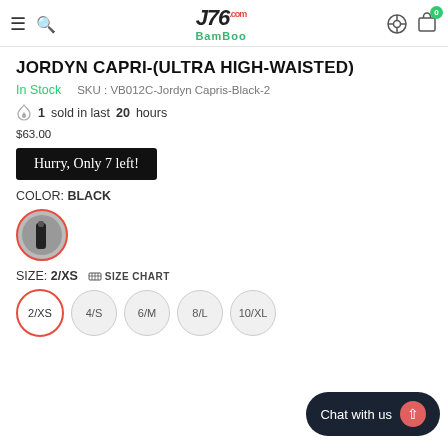J76 Bamboo — navigation header
JORDYN CAPRI-(ULTRA HIGH-WAISTED)
In Stock   SKU : VB012C-Jordyn Capris-Black-2
1 sold in last 20 hours
$63.00
Hurry, Only 7 left!
COLOR: BLACK
[Figure (photo): Color swatch thumbnail of black capri leggings, circular with red border]
SIZE: 2/XS  SIZE CHART
Size options: 2/XS, 4/S, 6/M, 8/L, 10/XL